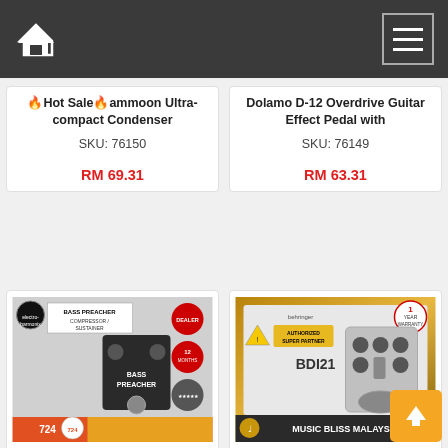Navigation bar with home icon and menu icon
[Figure (photo): Product image for Hot Sale ammoon Ultra-compact Condenser (partially visible, top cropped)]
🔥Hot Sale🔥ammoon Ultra-compact Condenser
SKU: 76150
RM 69.31
[Figure (photo): Product image for Dolamo D-12 Overdrive Guitar Effect Pedal (partially visible, top cropped)]
Dolamo D-12 Overdrive Guitar Effect Pedal with
SKU: 76149
RM 63.31
[Figure (photo): Electro-Harmonix Bass Preacher Compressor/Sustainer pedal product image with 724 ROCKS branding banner]
724 ROCKS EHX Electro Harmonix Bass Preacher
SKU: 75935
RM 490.00
[Figure (photo): Behringer BDI21 V-Tone Bass Driver/DI preamp product image with Music Bliss Malaysia branding and Authorized Super Partner badge]
Behringer BDI21 V-Tone Bass Driver Preamp/DI
SKU: 75934
RM 190.00